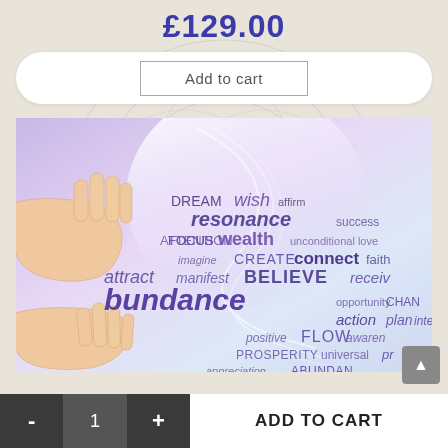£129.00
Add to cart
[Figure (illustration): Two open hands cupped together with a word cloud about abundance, manifesting, wealth. Words include: DREAM, wish, affirm, resonance, success, FOCUS, wealth, ATTENTION, unconditional love, imagine, CREATE, connect, faith, attract, manifest, BELIEVE, receive, abundance, opportunity, CHANGE, action, plan, intent, positive, FLOW, awareness, PROSPERITY, universal, appreciation, ABUNDANCE, collective, unconscious, attitude, think, FEEL, manifest, SEE. Purple and lavender tones on soft background.]
- 1 + ADD TO CART